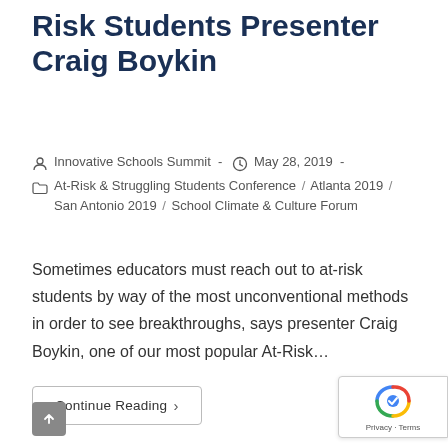Risk Students Presenter Craig Boykin
Innovative Schools Summit  ·  May 28, 2019  ·  At-Risk & Struggling Students Conference / Atlanta 2019 / San Antonio 2019 / School Climate & Culture Forum
Sometimes educators must reach out to at-risk students by way of the most unconventional methods in order to see breakthroughs, says presenter Craig Boykin, one of our most popular At-Risk...
Continue Reading ›